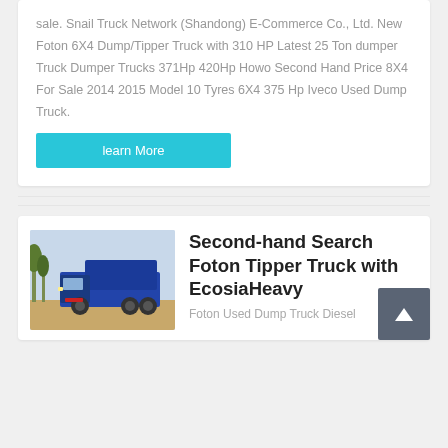sale. Snail Truck Network (Shandong) E-Commerce Co., Ltd. New Foton 6X4 Dump/Tipper Truck with 310 HP Latest 25 Ton dumper Truck Dumper Trucks 371Hp 420Hp Howo Second Hand Price 8X4 For Sale 2014 2015 Model 10 Tyres 6X4 375 Hp Iveco Used Dump Truck.
learn More
[Figure (photo): Blue Foton tipper/dump truck parked outdoors]
Second-hand Search Foton Tipper Truck with EcosiaHeavy
Foton Used Dump Truck Diesel